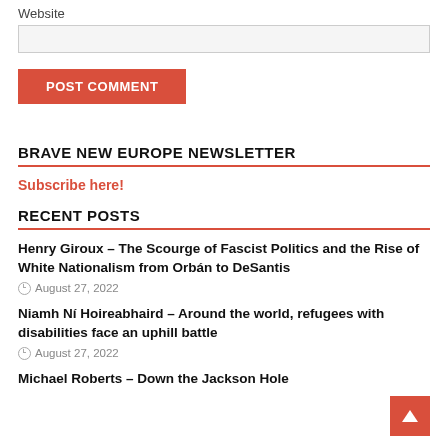Website
[Figure (screenshot): Website input text field (empty, light gray background)]
[Figure (other): POST COMMENT button in red]
BRAVE NEW EUROPE NEWSLETTER
Subscribe here!
RECENT POSTS
Henry Giroux – The Scourge of Fascist Politics and the Rise of White Nationalism from Orbán to DeSantis
August 27, 2022
Niamh Ní Hoireabhaird – Around the world, refugees with disabilities face an uphill battle
August 27, 2022
Michael Roberts – Down the Jackson Hole